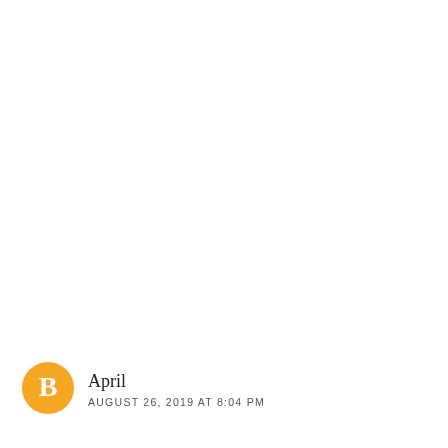[Figure (logo): Blogger 'B' logo icon — orange circle with white letter B in the center]
April
AUGUST 26, 2019 AT 8:04 PM